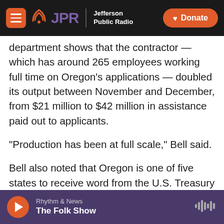[Figure (screenshot): JPR Jefferson Public Radio navigation bar with hamburger menu, JPR logo, and orange Donate button]
department shows that the contractor — which has around 265 employees working full time on Oregon's applications — doubled its output between November and December, from $21 million to $42 million in assistance paid out to applicants.
“Production has been at full scale,” Bell said.
Bell also noted that Oregon is one of five states to receive word from the U.S. Treasury Department that it will be getting additional federal funding for emergency rent assistance.
Bell said the U.S. Treasury Department hasn’t
[Figure (screenshot): Audio player bar showing Rhythm & News - The Folk Show with play button and waveform icon]